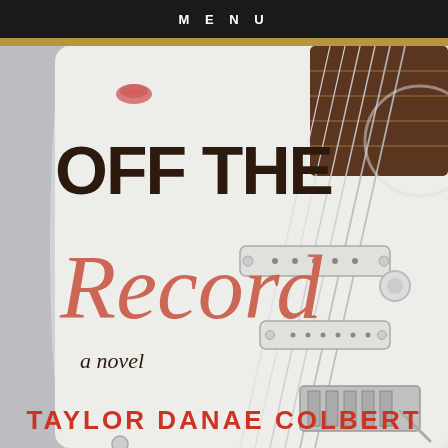MENU
[Figure (illustration): Book cover for 'Off The Record' — a novel by Taylor Danae Colbert. White electric guitar (Stratocaster style) on a light gray background with a lipstick kiss mark near the top. The cover shows the title in large serif/sans text with 'OFF THE' in dark brown block capitals, 'Record' in a flowing salmon/coral script, and 'a novel' in smaller italic text. The author name appears at the bottom in bold red capitals.]
OFF THE Record
a novel
TAYLOR DANAE COLBERT